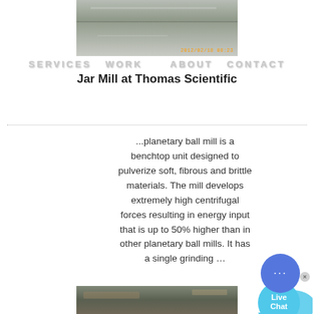[Figure (photo): Outdoor construction or industrial site photo with timestamp 2012/02/18 08:23]
SERVICES   WORK      ABOUT   CONTACT
Jar Mill at Thomas Scientific
...planetary ball mill is a benchtop unit designed to pulverize soft, fibrous and brittle materials. The mill develops extremely high centrifugal forces resulting in energy input that is up to 50% higher than in other planetary ball mills. It has a single grinding ...
[Figure (infographic): Live Chat speech bubble widget in cyan/blue]
COLOR:
Orange
Blue
Yellow
[Figure (photo): Bottom partial photo of industrial/construction site]